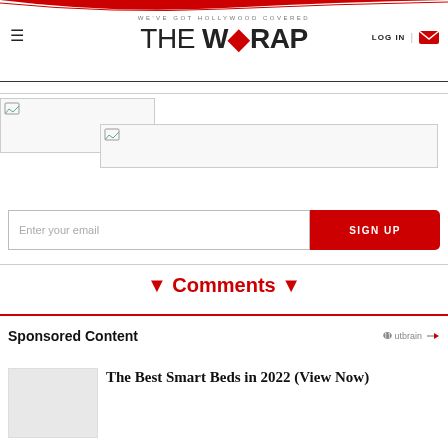WE'VE GOT HOLLYWOOD COVERED — THE WRAP — LOG IN
[Figure (screenshot): Broken image placeholder 1, partially visible banner]
[Figure (screenshot): Broken image placeholder 2, wide banner area]
Enter your email
SIGN UP
▼ Comments ▼
Sponsored Content
Outbrain
The Best Smart Beds in 2022 (View Now)